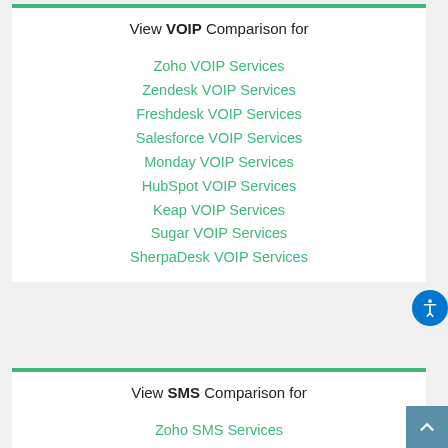View VOIP Comparison for
Zoho VOIP Services
Zendesk VOIP Services
Freshdesk VOIP Services
Salesforce VOIP Services
Monday VOIP Services
HubSpot VOIP Services
Keap VOIP Services
Sugar VOIP Services
SherpaDesk VOIP Services
View SMS Comparison for
Zoho SMS Services